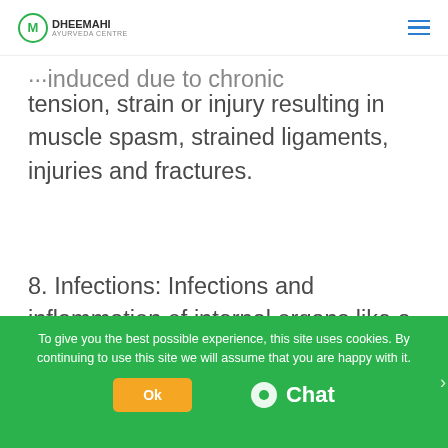Dheemahi Ayurveda Centre
...induced due to chronic tension, strain or injury resulting in muscle spasm, strained ligaments, injuries and fractures.
8. Infections: Infections and inflammation of internal organs like a bladder or kidney precipitate back pain. Infection of the spine is also a...
To give you the best possible experience, this site uses cookies. By continuing to use this site we will assume that you are happy with it.
Ok
Chat